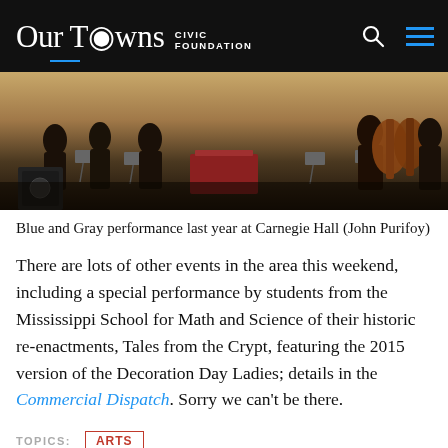Our Towns CIVIC FOUNDATION
[Figure (photo): Orchestra musicians performing on stage at Carnegie Hall, viewed from the side, with music stands and a conductor's podium visible]
Blue and Gray performance last year at Carnegie Hall (John Purifoy)
There are lots of other events in the area this weekend, including a special performance by students from the Mississippi School for Math and Science of their historic re-enactments, Tales from the Crypt, featuring the 2015 version of the Decoration Day Ladies; details in the Commercial Dispatch. Sorry we can’t be there.
TOPICS:  ARTS